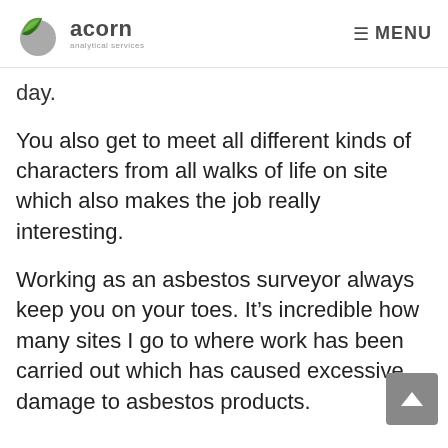acorn analytical services | MENU
day.
You also get to meet all different kinds of characters from all walks of life on site which also makes the job really interesting.
Working as an asbestos surveyor always keep you on your toes. It’s incredible how many sites I go to where work has been carried out which has caused excessive damage to asbestos products.
(partial bottom text)